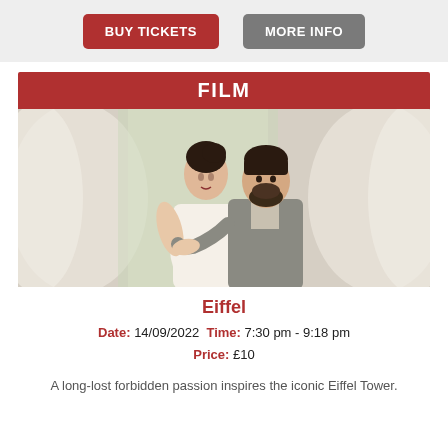BUY TICKETS | MORE INFO
FILM
[Figure (photo): A couple in period costume embracing — a woman in a white dress and a bearded man in a grey suit, standing near sheer white curtains.]
Eiffel
Date: 14/09/2022 Time: 7:30 pm - 9:18 pm Price: £10
A long-lost forbidden passion inspires the iconic Eiffel Tower.